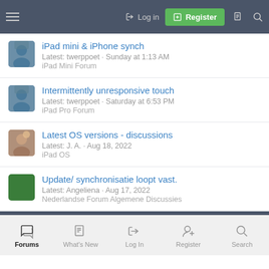Login | Register
iPad mini & iPhone synch
Latest: twerppoet · Sunday at 1:13 AM
iPad Mini Forum
Intermittently unresponsive touch
Latest: twerppoet · Saturday at 6:53 PM
iPad Pro Forum
Latest OS versions - discussions
Latest: J. A. · Aug 18, 2022
iPad OS
Update/ synchronisatie loopt vast.
Latest: Angeliena · Aug 17, 2022
Nederlandse Forum Algemene Discussies
Forums | What's New | Log In | Register | Search